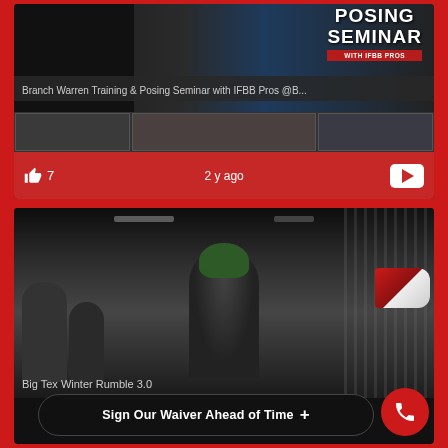[Figure (screenshot): Video card thumbnail showing Branch Warren Training & Posing Seminar with IFBB Pros. Contains a posing seminar promotional image and a row of bodybuilder thumbnails below.]
Branch Warren Training & Posing Seminar with IFBB Pros @B...
7
2 y ago
[Figure (screenshot): Video card thumbnail showing Big Tex Winter Rumble 3.0 event. Person with green hair speaking through a megaphone in a crowd.]
Big Tex Winter Rumble 3.0
Sign Our Waiver Ahead of Time +